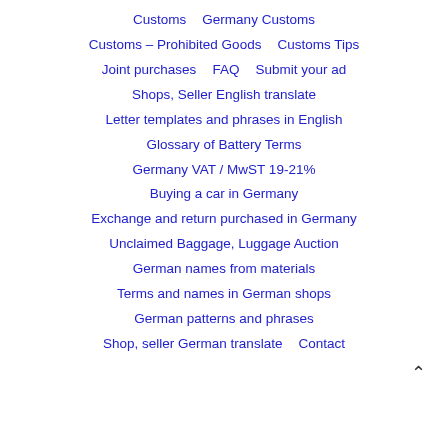Customs
Germany Customs
Customs – Prohibited Goods
Customs Tips
Joint purchases
FAQ
Submit your ad
Shops, Seller English translate
Letter templates and phrases in English
Glossary of Battery Terms
Germany VAT / MwST 19-21%
Buying a car in Germany
Exchange and return purchased in Germany
Unclaimed Baggage, Luggage Auction
German names from materials
Terms and names in German shops
German patterns and phrases
Shop, seller German translate
Contact